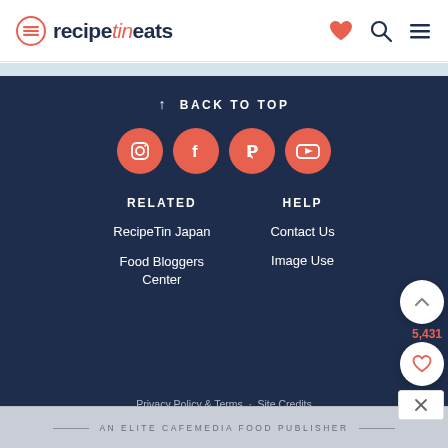[Figure (logo): RecipeTin Eats logo with icon, heart, search and menu icons]
[Figure (infographic): Footer section with back to top, social media icons (Instagram, Facebook, Pinterest, YouTube), two-column links (RELATED: RecipeTin Japan, Food Bloggers Center; HELP: Contact Us, Image Use), privacy/copyright line, and CafeMedia publisher badge]
↑  BACK TO TOP
RELATED
HELP
RecipeTin Japan
Food Bloggers Center
Contact Us
Image Use
5,431
Privacy Policy & Terms · Site Credits
© RecipeTin Eats 2022 · All Rights Reserved
AN ELITE CAFEMEDIA FOOD PUBLISHER